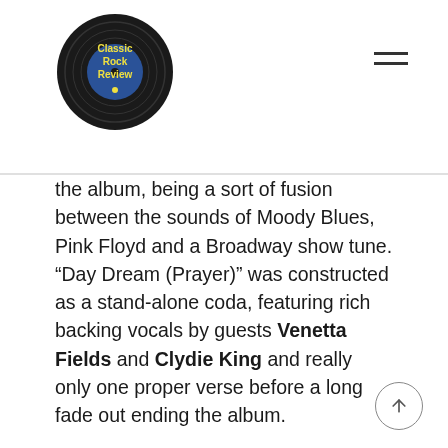Classic Rock Review
the album, being a sort of fusion between the sounds of Moody Blues, Pink Floyd and a Broadway show tune. “Day Dream (Prayer)” was constructed as a stand-alone coda, featuring rich backing vocals by guests Venetta Fields and Clydie King and really only one proper verse before a long fade out ending the album.
In 1974, Walsh played slide guitar on Vitale’s debut solo album, Roller Coaster Weekend, continuing a decades long musical relationship between the two despite the fact that Barnstorm would break up following The Smoker You Drink, the Player You Get. Later that